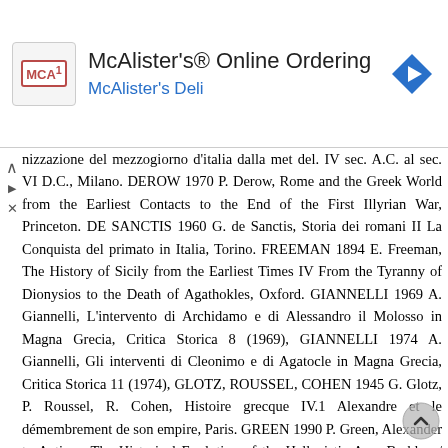[Figure (other): McAlister's Online Ordering advertisement banner with logo, title, subtitle, and navigation icon]
nizzazione del mezzogiorno d'italia dalla met del. IV sec. A.C. al sec. VI D.C., Milano. DEROW 1970 P. Derow, Rome and the Greek World from the Earliest Contacts to the End of the First Illyrian War, Princeton. DE SANCTIS 1960 G. de Sanctis, Storia dei romani II La Conquista del primato in Italia, Torino. FREEMAN 1894 E. Freeman, The History of Sicily from the Earliest Times IV From the Tyranny of Dionysios to the Death of Agathokles, Oxford. GIANNELLI 1969 A. Giannelli, L'intervento di Archidamo e di Alessandro il Molosso in Magna Grecia, Critica Storica 8 (1969), GIANNELLI 1974 A. Giannelli, Gli interventi di Cleonimo e di Agatocle in Magna Grecia, Critica Storica 11 (1974), GLOTZ, ROUSSEL, COHEN 1945 G. Glotz, P. Roussel, R. Cohen, Histoire grecque IV.1 Alexandre et le démembrement de son empire, Paris. GREEN 1990 P. Green, Alexander to Actium. The Historical Evolution of the Hellenistic Age, Berkley / Los Angeles. 60 BELOCH 1925, SCULLARD 1951, 118: the colony was settled against